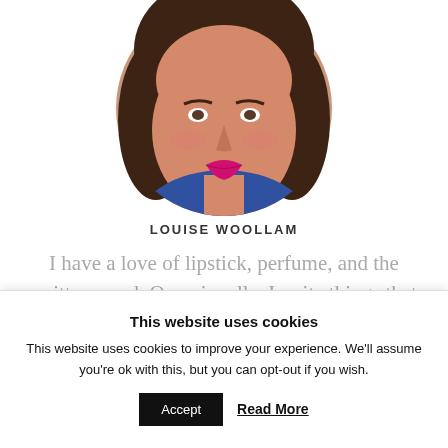[Figure (photo): Circular cropped portrait photo of a woman with brown hair and bright pink/magenta lipstick, wearing a blue top, cropped at chin level.]
LOUISE WOOLLAM
I have a love of lipstick, perfume, and the written word. Occasionally, I write things that make sense, but mostly I witter on about stuff I'm interested in. Oh, and anosmia. I'm the perfume writer who lost
This website uses cookies
This website uses cookies to improve your experience. We'll assume you're ok with this, but you can opt-out if you wish.
Accept
Read More